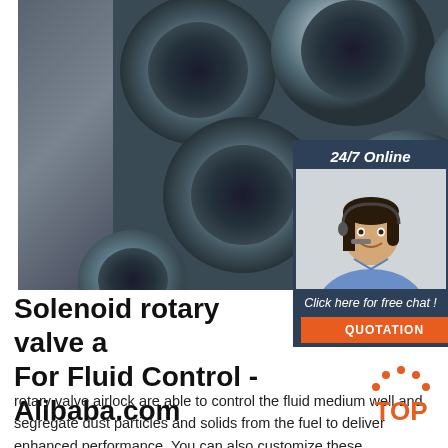[Figure (photo): Close-up photo of multiple steel pipes/tubes viewed from the end, showing circular cross-sections in dark grey metallic tones]
[Figure (infographic): 24/7 Online chat widget with dark blue background, showing a female customer service agent with headset smiling, and a 'Click here for free chat!' prompt with an orange QUOTATION button]
Solenoid rotary valve a For Fluid Control - Alibaba.com
[Figure (logo): TOP logo with orange text 'TOP' and orange dotted arc above it]
rotary valve airlock are able to control the fluid medium well and segregate dust particles and solids from the fuel to deliver enhanced performance. You can also customize these.